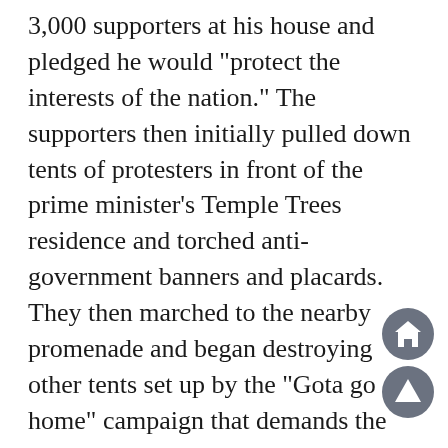3,000 supporters at his house and pledged he would "protect the interests of the nation." The supporters then initially pulled down tents of protesters in front of the prime minister's Temple Trees residence and torched anti-government banners and placards. They then marched to the nearby promenade and began destroying other tents set up by the "Gota go home" campaign that demands the president step down. "We were hit, the media were hit, women and children were hit," one witness told AFP, asking not to be named. "Strongly condemn the violent acts taking place by those inciting & participating, irrespective of political allegiances. Violence won't solve the current problems," President Rajapaksa tweeted. Opposition MP Sajith